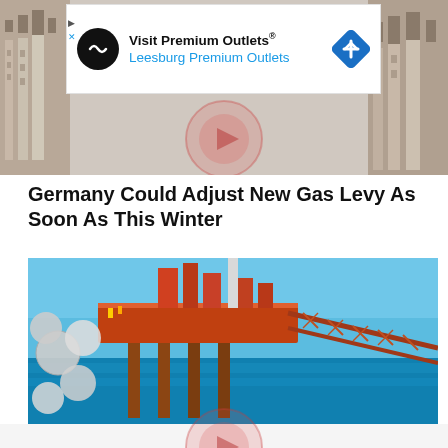[Figure (screenshot): Screenshot of a web page showing an advertisement banner for 'Visit Premium Outlets® – Leesburg Premium Outlets', a news article headline, and a photo of an offshore oil and gas platform.]
Germany Could Adjust New Gas Levy As Soon As This Winter